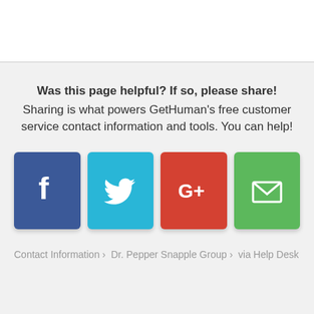Was this page helpful? If so, please share! Sharing is what powers GetHuman's free customer service contact information and tools. You can help!
[Figure (infographic): Four social sharing buttons: Facebook (dark blue with f logo), Twitter (light blue with bird logo), Google+ (red with G+ logo), Email (green with envelope logo)]
Contact Information › Dr. Pepper Snapple Group › via Help Desk